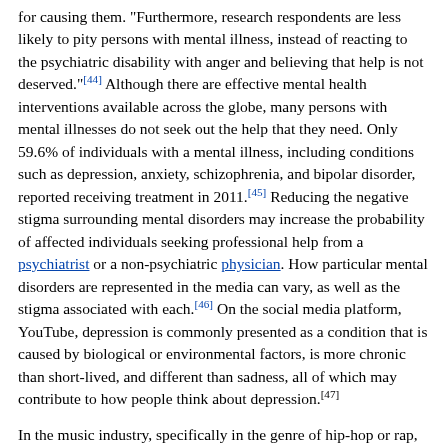for causing them. "Furthermore, research respondents are less likely to pity persons with mental illness, instead of reacting to the psychiatric disability with anger and believing that help is not deserved."[44] Although there are effective mental health interventions available across the globe, many persons with mental illnesses do not seek out the help that they need. Only 59.6% of individuals with a mental illness, including conditions such as depression, anxiety, schizophrenia, and bipolar disorder, reported receiving treatment in 2011.[45] Reducing the negative stigma surrounding mental disorders may increase the probability of affected individuals seeking professional help from a psychiatrist or a non-psychiatric physician. How particular mental disorders are represented in the media can vary, as well as the stigma associated with each.[46] On the social media platform, YouTube, depression is commonly presented as a condition that is caused by biological or environmental factors, is more chronic than short-lived, and different than sadness, all of which may contribute to how people think about depression.[47]
In the music industry, specifically in the genre of hip-hop or rap, those who speak out on mental illness are heavily criticized. However, according to an article by The Huffington Post, there's a significant increase in rappers who are breaking their silence on depression and anxiety.[48]